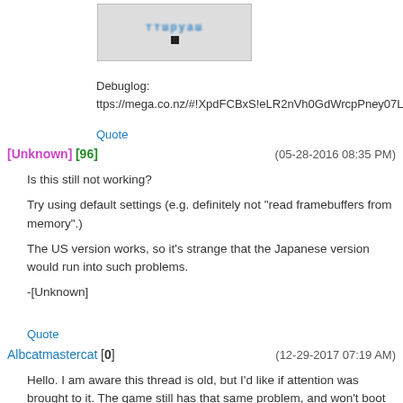[Figure (photo): Blurred/redacted user avatar image with teal/blue text]
Debuglog:
ttps://mega.co.nz/#!XpdFCBxS!eLR2nVh0GdWrcpPney07LhboOoPe7
Quote
[Unknown] [96]   (05-28-2016 08:35 PM)
Is this still not working?

Try using default settings (e.g. definitely not "read framebuffers from memory".)

The US version works, so it's strange that the Japanese version would run into such problems.

-[Unknown]
Quote
Albcatmastercat [0]   (12-29-2017 07:19 AM)
Hello. I am aware this thread is old, but I'd like if attention was brought to it. The game still has that same problem, and won't boot properly at all. If it does work with certain configurations, it crashes as soon as any menu options are selected.